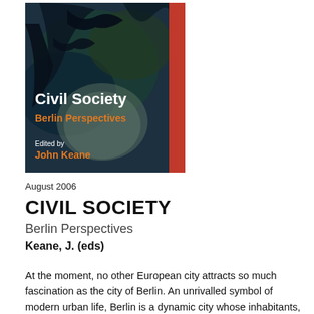[Figure (illustration): Book cover for 'Civil Society: Berlin Perspectives' edited by John Keane. Dark expressionist painting of figures on the cover. White text reads 'Civil Society', orange text reads 'Berlin Perspectives'. 'Edited by' in white and 'John Keane' in orange at bottom left. Red spine on right side.]
August 2006
CIVIL SOCIETY
Berlin Perspectives
Keane, J. (eds)
At the moment, no other European city attracts so much fascination as the city of Berlin. An unrivalled symbol of modern urban life, Berlin is a dynamic city whose inhabitants, in the course of the past two centuries, have lived through both the rapid growth and the violent destruction of the institutions of civil society, several times over. This volume, it positions itself within the